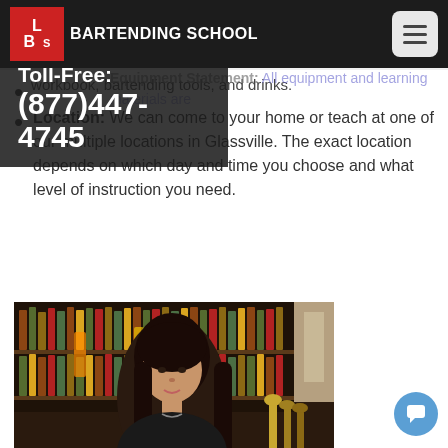LBS Bartending School
Toll-Free: (877)447-4745
Equipment Statement: All equipment and learning materials are provided. This includes a workbook, bartending tools, and drinks.
Location: We can come to your home or teach at one of our multiple locations in Glassville. The exact location depends on which day and time you choose and what level of instruction you need.
[Figure (photo): Woman bartender with long dark hair standing behind a bar with shelves of liquor bottles behind her and beer taps to the right]